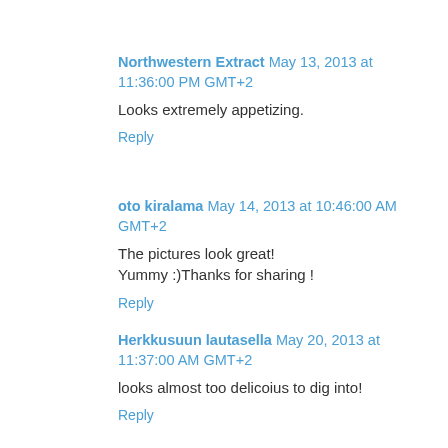Northwestern Extract May 13, 2013 at 11:36:00 PM GMT+2
Looks extremely appetizing.
Reply
oto kiralama May 14, 2013 at 10:46:00 AM GMT+2
The pictures look great!
Yummy :)Thanks for sharing !
Reply
Herkkusuun lautasella May 20, 2013 at 11:37:00 AM GMT+2
looks almost too delicoius to dig into!
Reply